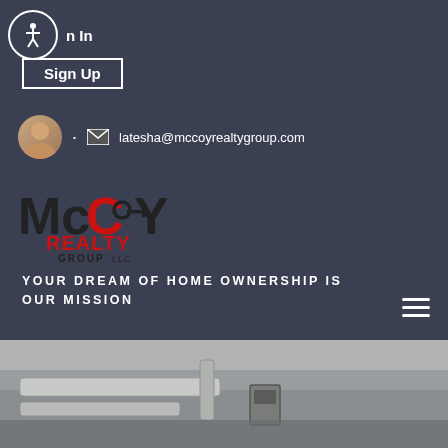Sign In
Sign Up
latesha@mccoyrealtygroup.com
[Figure (logo): McCoy Realty Group LLC logo with stylized text in black and red]
YOUR DREAM OF HOME OWNERSHIP IS OUR MISSION
[Figure (photo): Interior photo showing pipes and ductwork on a ceiling or wall]